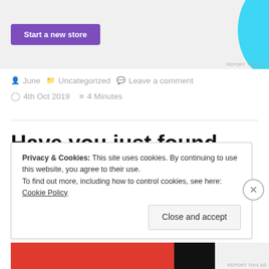[Figure (screenshot): Advertisement banner with purple 'Start a new store' button and cyan blue shape on the right, with 'REPORT THIS AD' text]
June   Uncategorized   Leave a comment
4th Oct 2019   4 Minutes
Have you just found this blog?
Privacy & Cookies: This site uses cookies. By continuing to use this website, you agree to their use.
To find out more, including how to control cookies, see here: Cookie Policy
Close and accept